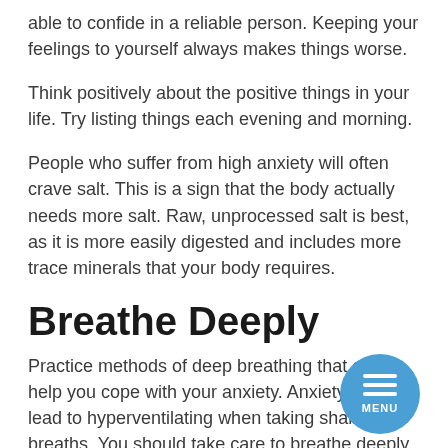able to confide in a reliable person. Keeping your feelings to yourself always makes things worse.
Think positively about the positive things in your life. Try listing things each evening and morning.
People who suffer from high anxiety will often crave salt. This is a sign that the body actually needs more salt. Raw, unprocessed salt is best, as it is more easily digested and includes more trace minerals that your body requires.
Breathe Deeply
Practice methods of deep breathing that can help you cope with your anxiety. Anxiety may lead to hyperventilating when taking shallow breaths. You should take care to breathe deeply from your diaphragm. You will find that your anxiety eases as